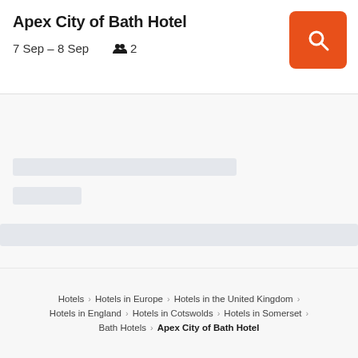Apex City of Bath Hotel
7 Sep – 8 Sep   👥 2
[Figure (screenshot): Loading skeleton bars showing placeholder content for hotel search results]
Hotels > Hotels in Europe > Hotels in the United Kingdom > Hotels in England > Hotels in Cotswolds > Hotels in Somerset > Bath Hotels > Apex City of Bath Hotel